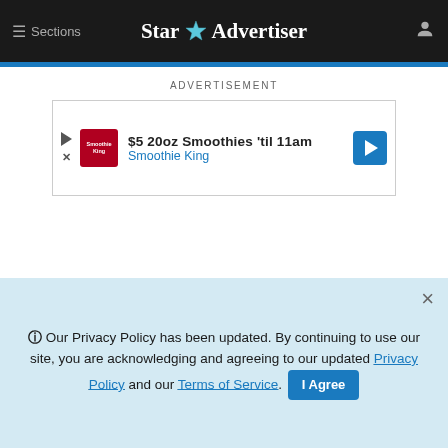≡ Sections  Star Advertiser
[Figure (screenshot): Advertisement banner: $5 20oz Smoothies 'til 11am - Smoothie King]
ADVERTISEMENT
ADVERTISEMENT
ⓘ Our Privacy Policy has been updated. By continuing to use our site, you are acknowledging and agreeing to our updated Privacy Policy and our Terms of Service. I Agree